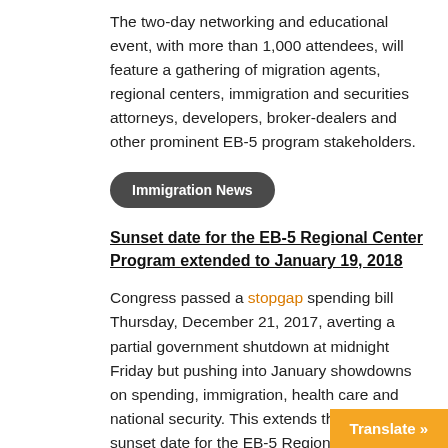The two-day networking and educational event, with more than 1,000 attendees, will feature a gathering of migration agents, regional centers, immigration and securities attorneys, developers, broker-dealers and other prominent EB-5 program stakeholders.
Immigration News
Sunset date for the EB-5 Regional Center Program extended to January 19, 2018
Congress passed a stopgap spending bill Thursday, December 21, 2017, averting a partial government shutdown at midnight Friday but pushing into January showdowns on spending, immigration, health care and national security. This extends the current sunset date for the EB-5 Regional Center Program as well, which was supposed to expire at midnight on Friday, December 22, 2018